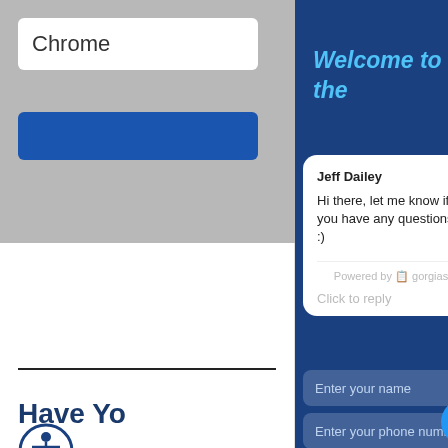Chrome
[Figure (screenshot): Browser address bar area with Chrome text input and blue bar below, gray background]
Have Yo
[Figure (illustration): Accessibility icon - stick figure in circle]
[Figure (screenshot): Chat widget panel with dark blue background, close X button, Welcome to the heading in italic cyan, chat card with Jeff Dailey message, powered by gorgias, click to reply, Enter your name and Enter your phone number fields, heart button, X close circle]
Welcome to the
Jeff Dailey
Hi there, let me know if you have any questions :)
Powered by gorgias
Click to reply
Enter your name
Enter your phone number